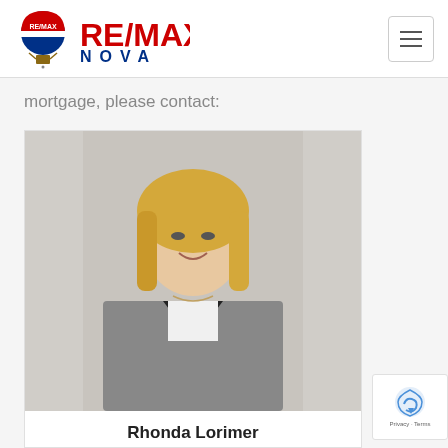[Figure (logo): RE/MAX Nova logo with hot air balloon icon and red/blue text]
mortgage, please contact:
[Figure (photo): Professional headshot of Rhonda Lorimer, a woman with blonde hair wearing a houndstooth blazer, smiling]
Rhonda Lorimer